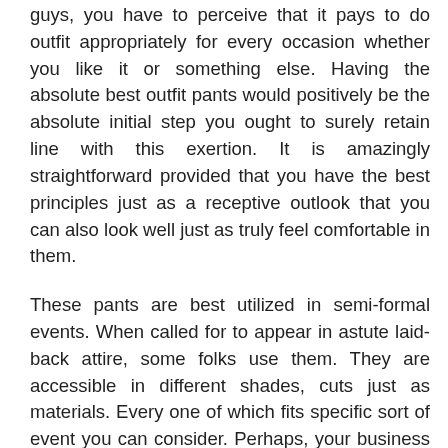guys, you have to perceive that it pays to do outfit appropriately for every occasion whether you like it or something else. Having the absolute best outfit pants would positively be the absolute initial step you ought to surely retain line with this exertion. It is amazingly straightforward provided that you have the best principles just as a receptive outlook that you can also look well just as truly feel comfortable in them.
These pants are best utilized in semi-formal events. When called for to appear in astute laid-back attire, some folks use them. They are accessible in different shades, cuts just as materials. Every one of which fits specific sort of event you can consider. Perhaps, your business is holding a basic association festivity for the clients. Landing in your laid-back shirts and furthermore shorts would absolutely not be recommended.